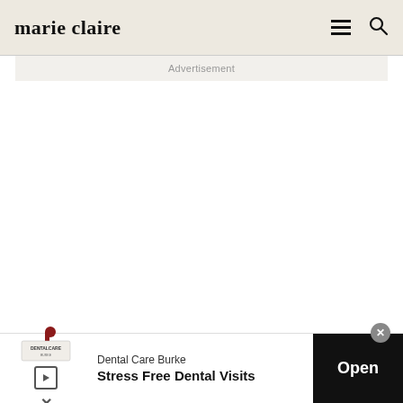marie claire
Advertisement
It’s thought the couple are now holed up in a
[Figure (infographic): Bottom banner advertisement for Dental Care Burke: Stress Free Dental Visits, with an Open button]
Dental Care Burke
Stress Free Dental Visits
Open